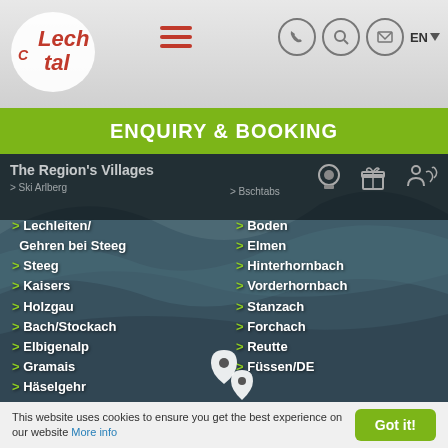Lech Tal logo, hamburger menu, phone/search/mail icons, EN language selector
ENQUIRY & BOOKING
[Figure (screenshot): Navigation bar showing The Region's Villages with icons for webcam, gift, and location. Ski Arlberg and Bschtabs links visible.]
> Lechleiten/ Gehren bei Steeg
> Boden
> Steeg
> Elmen
> Kaisers
> Hinterhornbach
> Holzgau
> Vorderhornbach
> Bach/Stockach
> Stanzach
> Elbigenalp
> Forchach
> Gramais
> Reutte
> Häselgehr
> Füssen/DE
This website uses cookies to ensure you get the best experience on our website More info
Got it!